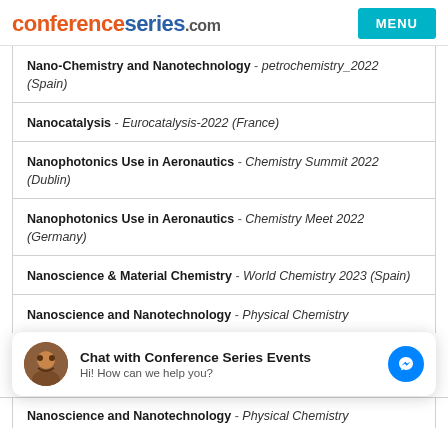conferenceseries.com
Nano-Chemistry and Nanotechnology - petrochemistry_2022 (Spain)
Nanocatalysis - Eurocatalysis-2022 (France)
Nanophotonics Use in Aeronautics - Chemistry Summit 2022 (Dublin)
Nanophotonics Use in Aeronautics - Chemistry Meet 2022 (Germany)
Nanoscience & Material Chemistry - World Chemistry 2023 (Spain)
Nanoscience and Nanotechnology - Physical Chemistry
[Figure (screenshot): Chat widget: 'Chat with Conference Series Events' with avatar and Messenger icon. Text: Hi! How can we help you?]
Nanoscience and Nanotechnology (partial, cut off at bottom)